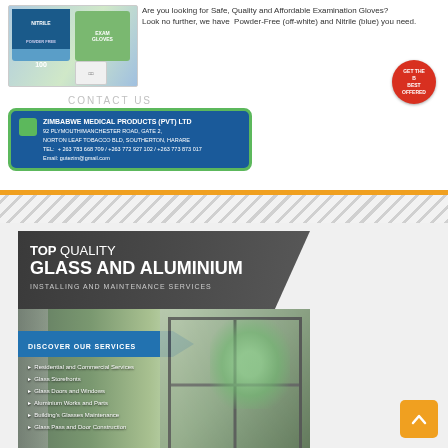[Figure (illustration): Advertisement for Zimbabwe Medical Products (PVT) LTD showing examination gloves (Nitrile powder-free), contact information and a promotional stamp badge]
Are you looking for Safe, Quality and Affordable Examination Gloves? Look no further, we have Powder-Free (off-white) and Nitrile (blue) you need.
CONTACT US
ZIMBABWE MEDICAL PRODUCTS (PVT) LTD
92 PLYMOUTH/MANCHESTER ROAD, GATE 2,
NORTON LEAF TOBACCO BLD, SOUTHERTON, HARARE
TEL: + 263 783 668 709 / +263 772 927 102 / +263 773 873 017
Email: gutezim@gmail.com
[Figure (illustration): Advertisement for Top Quality Glass and Aluminium Installing and Maintenance Services. Shows services: Residential and Commercial Services, Glass Storefronts, Glass Doors and Windows, Aluminium Works and Parts, Building's Glasses Maintenance, Glass Pass and Door Construction. Licensed and Insuranced.]